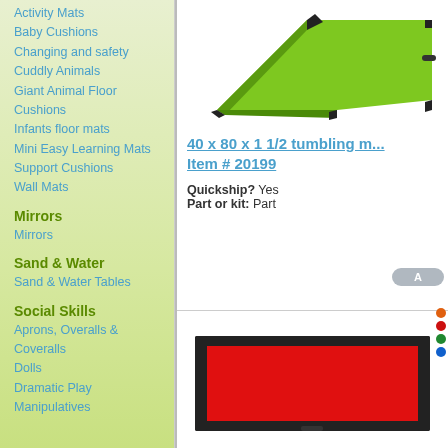Activity Mats
Baby Cushions
Changing and safety
Cuddly Animals
Giant Animal Floor Cushions
Infants floor mats
Mini Easy Learning Mats
Support Cushions
Wall Mats
Mirrors
Mirrors
Sand & Water
Sand & Water Tables
Social Skills
Aprons, Overalls & Coveralls
Dolls
Dramatic Play
Manipulatives
[Figure (photo): Green tumbling mat with black border corners, hexagonal shape visible, photographed at an angle]
40 x 80 x 1 1/2 tumbling m... Item # 20199
Quickship? Yes
Part or kit: Part
[Figure (photo): Red rectangular tumbling mat with black border/trim, photographed from above at slight angle]